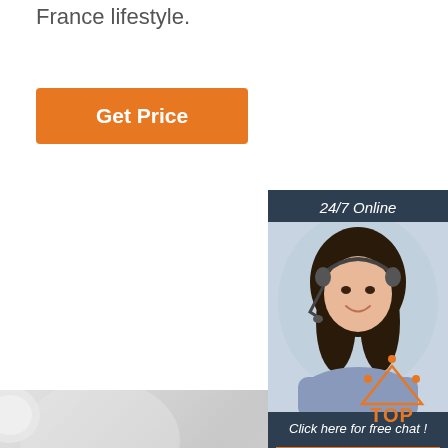France lifestyle.
[Figure (other): Orange 'Get Price' button]
[Figure (other): 24/7 Online chat widget with customer service agent photo, 'Click here for free chat!' text and orange QUOTATION button]
[Figure (photo): Silver chain bracelet/necklace with lobster clasp on grey background]
[Figure (other): Orange and white TOP badge/icon in bottom right corner]